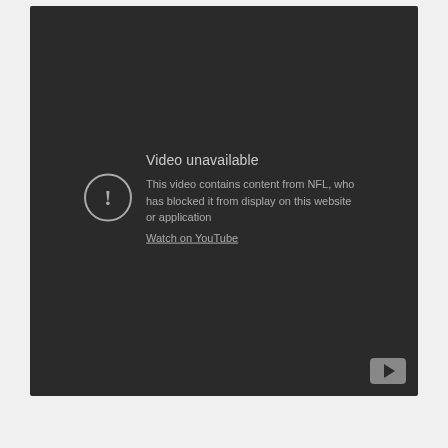[Figure (screenshot): YouTube video unavailable error screen on dark background. Shows a circular exclamation mark icon on the left, with 'Video unavailable' as the heading, followed by the message 'This video contains content from NFL, who has blocked it from display on this website or application' and a 'Watch on YouTube' link. A YouTube play button icon appears in the bottom right corner.]